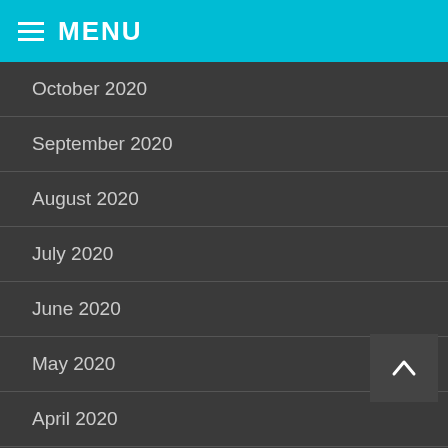MENU
October 2020
September 2020
August 2020
July 2020
June 2020
May 2020
April 2020
March 2020
February 2020
January 2020